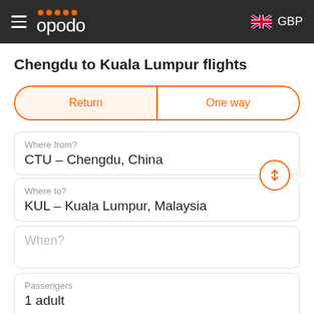opodo — GBP
Chengdu to Kuala Lumpur flights
Return | One way
Where from?
CTU – Chengdu, China
Where to?
KUL – Kuala Lumpur, Malaysia
When?
Passengers
1 adult